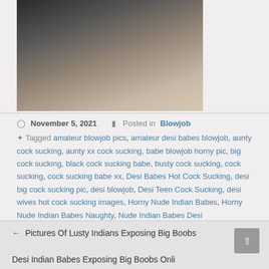[Figure (photo): Cropped photo showing a person and a dark-haired subject in close proximity]
November 5, 2021   Posted in Blowjob
Tagged amateur blowjob pics, amateur desi babes blowjob, aunty cock sucking, aunty xx cock sucking, babe blowjob horny pic, big cock sucking, black cock sucking babe, busty cock sucking, cock sucking, cock sucking babe xx, Desi Babes Hot Cock Sucking, desi big cock sucking pic, desi blowjob, Desi Teen Cock Sucking, desi wives hot cock sucking images, Horny Nude Indian Babes, Horny Nude Indian Babes Naughty, Nude Indian Babes Desi
Post Permalink
← Pictures Of Lusty Indians Exposing Big Boobs
Desi Indian Babes Exposing Big Boobs Online